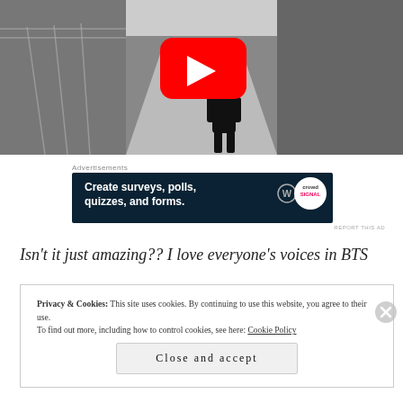[Figure (screenshot): Black and white video thumbnail showing a person walking away down a pathway with fencing, with a YouTube play button overlay in red]
Advertisements
[Figure (screenshot): Dark navy blue advertisement banner reading 'Create surveys, polls, quizzes, and forms.' with WordPress and CrowdSignal logos]
REPORT THIS AD
Isn't it just amazing?? I love everyone's voices in BTS
Privacy & Cookies: This site uses cookies. By continuing to use this website, you agree to their use.
To find out more, including how to control cookies, see here: Cookie Policy
Close and accept